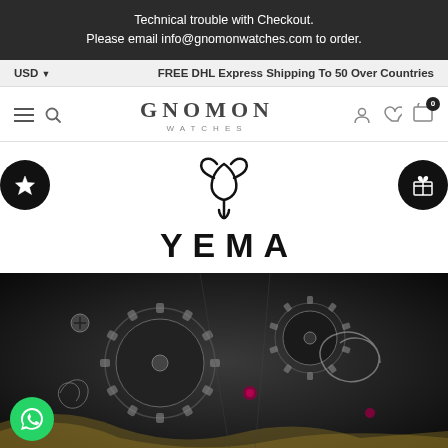Technical trouble with Checkout.
Please email info@gnomonwatches.com to order.
USD ⌄		FREE DHL Express Shipping To 50 Over Countries
[Figure (logo): GNOMON WATCHES logo with hamburger menu and search icon on left, user/heart/cart icons on right]
[Figure (logo): YEMA brand logo with stylized Y symbol above YEMA text]
[Figure (photo): Close-up macro photograph of a mechanical watch movement showing gears, cogs, jewels and engravings in dark tones]